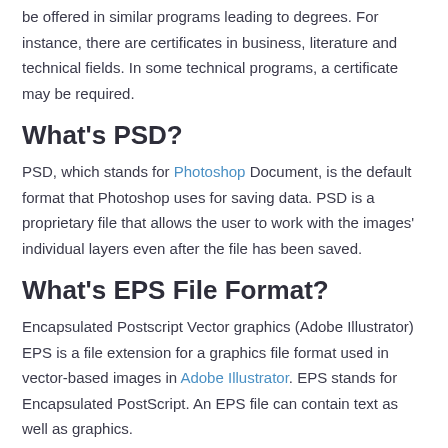be offered in similar programs leading to degrees. For instance, there are certificates in business, literature and technical fields. In some technical programs, a certificate may be required.
What's PSD?
PSD, which stands for Photoshop Document, is the default format that Photoshop uses for saving data. PSD is a proprietary file that allows the user to work with the images' individual layers even after the file has been saved.
What's EPS File Format?
Encapsulated Postscript Vector graphics (Adobe Illustrator) EPS is a file extension for a graphics file format used in vector-based images in Adobe Illustrator. EPS stands for Encapsulated PostScript. An EPS file can contain text as well as graphics.